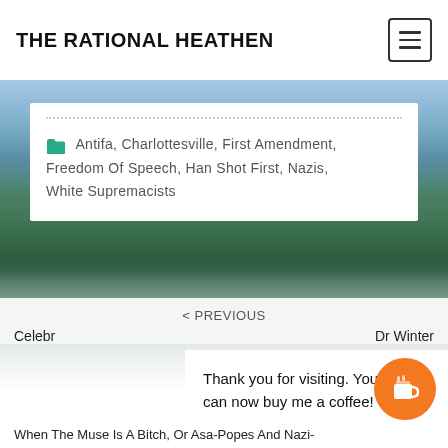THE RATIONAL HEATHEN
Ads by Amazon
Antifa, Charlottesville, First Amendment, Freedom Of Speech, Han Shot First, Nazis, White Supremacists
< PREVIOUS
Celebr
Dr Winter
Thank you for visiting. You can now buy me a coffee!
When The Muse Is A Bitch, Or Asa-Popes And Nazi-